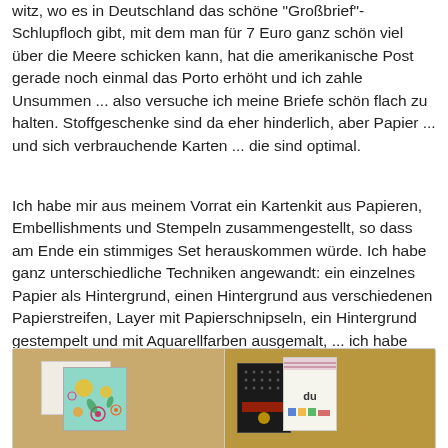witz, wo es in Deutschland das schöne "Großbrief"-Schlupfloch gibt, mit dem man für 7 Euro ganz schön viel über die Meere schicken kann, hat die amerikanische Post gerade noch einmal das Porto erhöht und ich zahle Unsummen ... also versuche ich meine Briefe schön flach zu halten. Stoffgeschenke sind da eher hinderlich, aber Papier ... und sich verbrauchende Karten ... die sind optimal.
Ich habe mir aus meinem Vorrat ein Kartenkit aus Papieren, Embellishments und Stempeln zusammengestellt, so dass am Ende ein stimmiges Set herauskommen würde. Ich habe ganz unterschiedliche Techniken angewandt: ein einzelnes Papier als Hintergrund, einen Hintergrund aus verschiedenen Papierstreifen, Layer mit Papierschnipseln, ein Hintergrund gestempelt und mit Aquarellfarben ausgemalt, ... ich habe einfach gespielt und probiert. Und dabei viel Spaß gehabt!
[Figure (photo): Two photos side by side showing handmade greeting cards. Left photo: a card with colorful floral pattern on teal background with yellow circles, placed on a white envelope, on a wooden surface. Right photo: multiple handmade cards including a black card with embellishments, a white card with 'du' text, and other decorated cards on a wooden surface.]